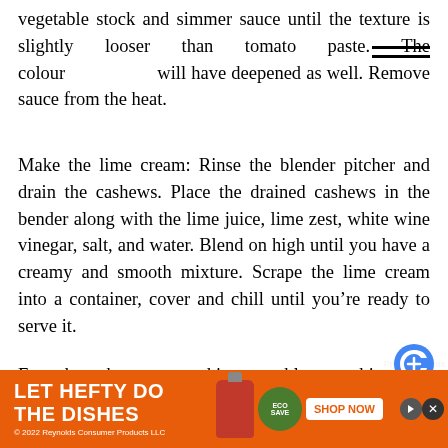vegetable stock and simmer sauce until the texture is slightly looser than tomato paste. The colour will have deepened as well. Remove sauce from the heat.
Make the lime cream: Rinse the blender pitcher and drain the cashews. Place the drained cashews in the bender along with the lime juice, lime zest, white wine vinegar, salt, and water. Blend on high until you have a creamy and smooth mixture. Scrape the lime cream into a container, cover and chill until you’re ready to serve it.
For the cheesy pumpkin crumble, combine the pumpkin seeds, cumin seeds, coriander seeds, nutritional yeast and salt in a spice/coffee grinder/mini food processor/mortar and pestle. Grind until you have a lightly textured dust. Se… asi…
[Figure (other): Advertisement banner: LET HEFTY DO THE DISHES - Reynolds Consumer Products LLC ad with orange background, product imagery, ECOSAVE badge, and SHOP NOW button]